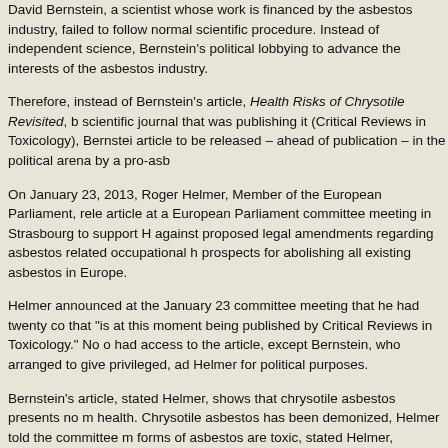David Bernstein, a scientist whose work is financed by the asbestos industry, failed to follow normal scientific procedure. Instead of independent science, Bernstein's work is political lobbying to advance the interests of the asbestos industry.
Therefore, instead of Bernstein's article, Health Risks of Chrysotile Revisited, being sent to the scientific journal that was publishing it (Critical Reviews in Toxicology), Bernstein arranged for the article to be released – ahead of publication – in the political arena by a pro-asbestos lobbyist.
On January 23, 2013, Roger Helmer, Member of the European Parliament, released Bernstein's article at a European Parliament committee meeting in Strasbourg to support Helmer's campaign against proposed legal amendments regarding asbestos related occupational health and the prospects for abolishing all existing asbestos in Europe.
Helmer announced at the January 23 committee meeting that he had twenty copies of an article that "is at this moment being published by Critical Reviews in Toxicology." No one outside CRT had access to the article, except Bernstein, who arranged to give privileged, advance access to Helmer for political purposes.
Bernstein's article, stated Helmer, shows that chrysotile asbestos presents no measurable risk to health. Chrysotile asbestos has been demonized, Helmer told the committee members. While other forms of asbestos are toxic, stated Helmer, chrysotile asbestos is not toxic at all. Helmer used the article to urge the committee members to vote against the proposed amendments. Helmer brought twenty copies of the article for the committee members.
You can watch Helmer's presentation to the European Parliament c